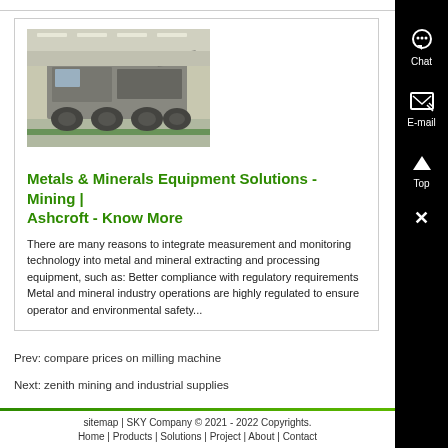[Figure (photo): Industrial mining equipment/crusher in a warehouse facility with green floor markings]
Metals & Minerals Equipment Solutions - Mining | Ashcroft - Know More
There are many reasons to integrate measurement and monitoring technology into metal and mineral extracting and processing equipment, such as: Better compliance with regulatory requirements Metal and mineral industry operations are highly regulated to ensure operator and environmental safety...
Prev: compare prices on milling machine
Next: zenith mining and industrial supplies
sitemap | SKY Company © 2021 - 2022 Copyrights. Home | Products | Solutions | Project | About | Contact